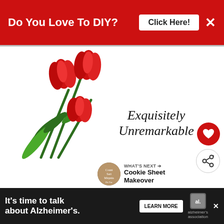[Figure (infographic): Red banner advertisement at the top: 'Do You Love To DIY?' with a 'Click Here!' button and X close button on a red background]
[Figure (photo): Three red tulips with green stems and leaves, arranged diagonally on a white background, part of a book cover illustration]
Exquisitely Unremarkable
[Figure (infographic): Heart icon button (red circle) and share icon button (white circle with share symbol)]
[Figure (infographic): WHAT'S NEXT arrow label with circular avatar image and text: Cookie Sheet Makeover]
Do You Love Cottage Style Design
[Figure (infographic): Bottom dark banner advertisement: It's time to talk about Alzheimer's. With LEARN MORE button and Alzheimer's Association logo and X close button]